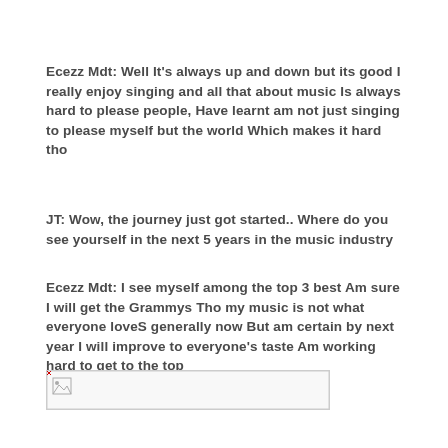Ecezz Mdt: Well It's always up and down but its good I really enjoy singing and all that about music Is always hard to please people, Have learnt am not just singing to please myself but the world Which makes it hard tho
JT: Wow, the journey just got started.. Where do you see yourself in the next 5 years in the music industry
Ecezz Mdt: I see myself among the top 3 best Am sure I will get the Grammys Tho my music is not what everyone loveS generally now But am certain by next year I will improve to everyone's taste Am working hard to get to the top
[Figure (other): Broken/missing image placeholder with border]